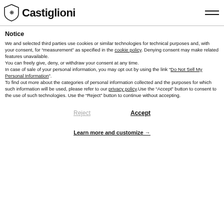Castiglioni
Notice
We and selected third parties use cookies or similar technologies for technical purposes and, with your consent, for “measurement” as specified in the cookie policy. Denying consent may make related features unavailable.
You can freely give, deny, or withdraw your consent at any time.
In case of sale of your personal information, you may opt out by using the link “Do Not Sell My Personal Information”.
To find out more about the categories of personal information collected and the purposes for which such information will be used, please refer to our privacy policy.Use the “Accept” button to consent to the use of such technologies. Use the “Reject” button to continue without accepting.
Reject
Accept
Learn more and customize →